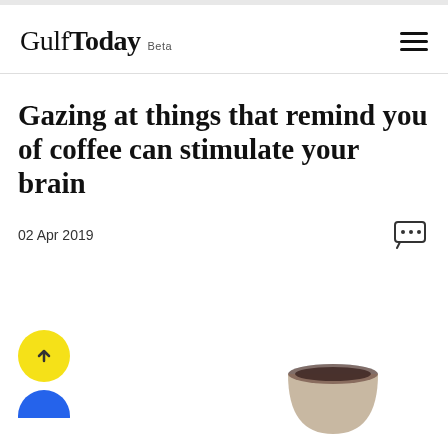Gulf Today Beta
Gazing at things that remind you of coffee can stimulate your brain
02 Apr 2019
[Figure (other): Yellow circular back-to-top button with upward chevron arrow, and partial blue circular button below it. Partial coffee cup image visible at bottom right.]